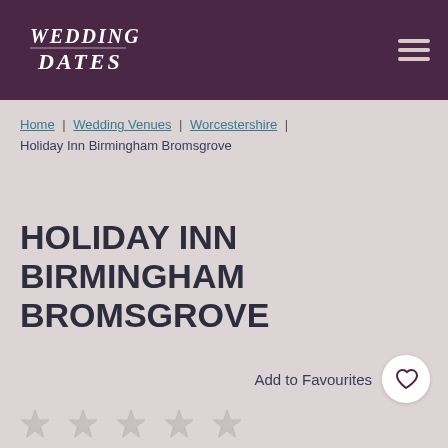[Figure (logo): Wedding Dates logo in white text on dark purple header background]
Home | Wedding Venues | Worcestershire | Holiday Inn Birmingham Bromsgrove
HOLIDAY INN BIRMINGHAM BROMSGROVE
Add to Favourites
[Figure (illustration): Row of five star rating icons at the bottom of the page]